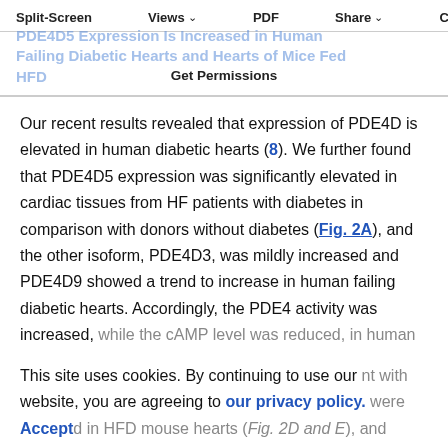Split-Screen | Views | PDF | Share | Cite | Get Permissions
PDE4D5 Expression Is Increased in Human Failing Diabetic Hearts and Hearts of Mice Fed HFD
Our recent results revealed that expression of PDE4D is elevated in human diabetic hearts (8). We further found that PDE4D5 expression was significantly elevated in cardiac tissues from HF patients with diabetes in comparison with donors without diabetes (Fig. 2A), and the other isoform, PDE4D3, was mildly increased and PDE4D9 showed a trend to increase in human failing diabetic hearts. Accordingly, the PDE4 activity was increased, while the cAMP level was reduced, in human failing diabetic hearts consistent with the results from the donors without diabetes were increased in HFD mouse hearts (Fig. 2D and E), and PDE4D5
This site uses cookies. By continuing to use our website, you are agreeing to our privacy policy. Accept